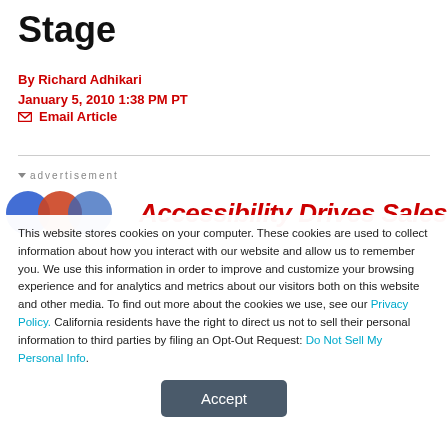Stage
By Richard Adhikari
January 5, 2010 1:38 PM PT
✉ Email Article
▼ advertisement
[Figure (screenshot): Advertisement banner with colored circles and red italic text 'Accessibility Drives Sales']
This website stores cookies on your computer. These cookies are used to collect information about how you interact with our website and allow us to remember you. We use this information in order to improve and customize your browsing experience and for analytics and metrics about our visitors both on this website and other media. To find out more about the cookies we use, see our Privacy Policy. California residents have the right to direct us not to sell their personal information to third parties by filing an Opt-Out Request: Do Not Sell My Personal Info.